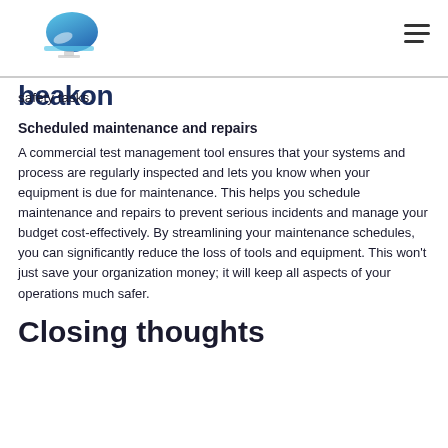beakon
safety tasks.
Scheduled maintenance and repairs
A commercial test management tool ensures that your systems and process are regularly inspected and lets you know when your equipment is due for maintenance. This helps you schedule maintenance and repairs to prevent serious incidents and manage your budget cost-effectively. By streamlining your maintenance schedules, you can significantly reduce the loss of tools and equipment. This won't just save your organization money; it will keep all aspects of your operations much safer.
Closing thoughts